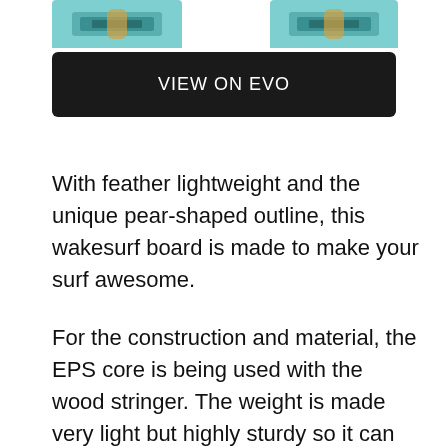[Figure (photo): Two wakesurf board product images on teal/aqua background, partially cropped at top of page]
VIEW ON EVO
With feather lightweight and the unique pear-shaped outline, this wakesurf board is made to make your surf awesome.
For the construction and material, the EPS core is being used with the wood stringer. The weight is made very light but highly sturdy so it can be your partner for a long
You are  also, turning the board becomes easy and quick without compromising the speed at all. Furthermore, it is present with crisp rail to improve performance